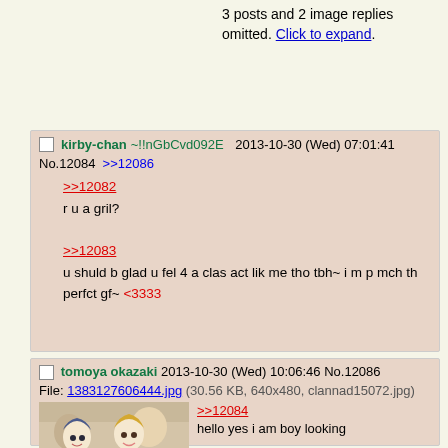3 posts and 2 image replies omitted. Click to expand.
kirby-chan~!!nGbCvd092E 2013-10-30 (Wed) 07:01:41 No.12084 >>12086
>>12082
r u a gril?
>>12083
u shuld b glad u fel 4 a clas act lik me tho tbh~ i m p mch th perfct gf~ <3333
tomoya okazaki 2013-10-30 (Wed) 10:06:46 No.12086
File: 1383127606444.jpg (30.56 KB, 640x480, clannad15072.jpg)
>>12084
hello yes i am boy looking